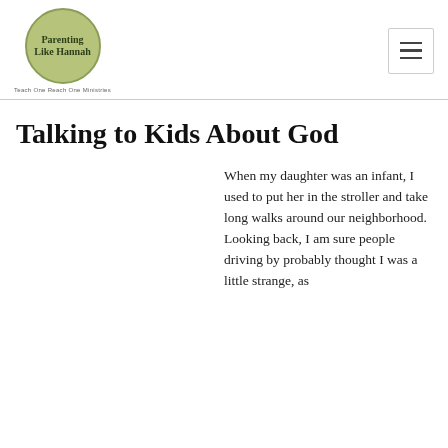Parenting Like Hannah — Teach One Reach One Ministries
Talking to Kids About God
When my daughter was an infant, I used to put her in the stroller and take long walks around our neighborhood. Looking back, I am sure people driving by probably thought I was a little strange, as